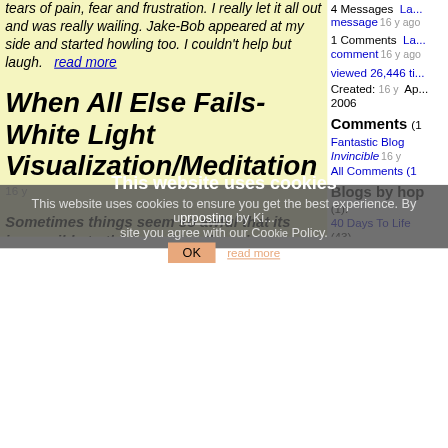tears of pain, fear and frustration. I really let it all out and was really wailing. Jake-Bob appeared at my side and started howling too. I couldn't help but laugh.   read more
When All Else Fails- White Light Visualization/Meditation
16 y
Sometimes things seem so awful that its impossible to think positive thoughts....
This morning was awful. Well, let's start from yesterday, a quick check of my checking account told me I was about $100.00 poorer than I thought. This is not good when you can't work! In addition, I need new brakes on my
4 Messages   Last message 16 y ago
1 Comments   Last comment 16 y ago
viewed 26,446 ti...
Created: 16 y   Apr 2006
Comments (1
Fantastic Blog Invincible 16 y
All Comments (1
Blogs by hop
(1):
40 Days To Life
(43)
Similar Blogs
of 185):
prposting by Ki...
Healthy habits to...
by cancerrounds
UK Hookup Blo...
This website uses cookies
This website uses cookies to ensure you get the best experience. By using our site you agree with our Cookie Policy.